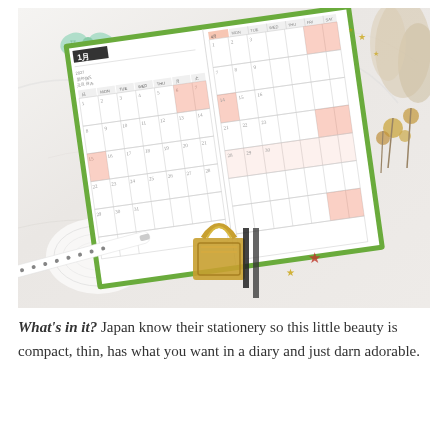[Figure (photo): Overhead photo of an open Japanese planner/diary with a monthly calendar grid, salmon/coral highlighted rows, lying on a marble surface surrounded by a mint bow, dried flowers, a gold binder clip, a white pen with dots, black ribbon bookmarks, and gold star confetti.]
What's in it? Japan know their stationery so this little beauty is compact, thin, has what you want in a diary and just darn adorable.